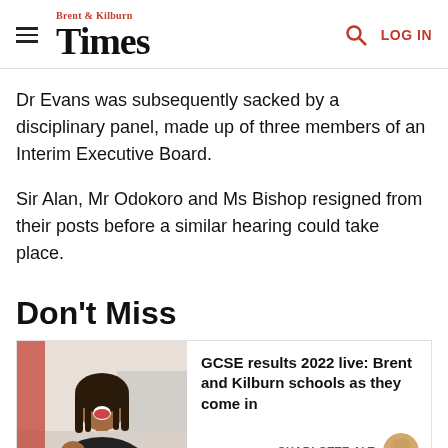Brent & Kilburn Times
Dr Evans was subsequently sacked by a disciplinary panel, made up of three members of an Interim Executive Board.
Sir Alan, Mr Odokoro and Ms Bishop resigned from their posts before a similar hearing could take place.
Don't Miss
[Figure (photo): Young woman with braids laughing/smiling, indoors, black jacket]
GCSE results 2022 live: Brent and Kilburn schools as they come in
CHARLOTTE ALT
[Figure (photo): Author avatar portrait of Charlotte Alt]